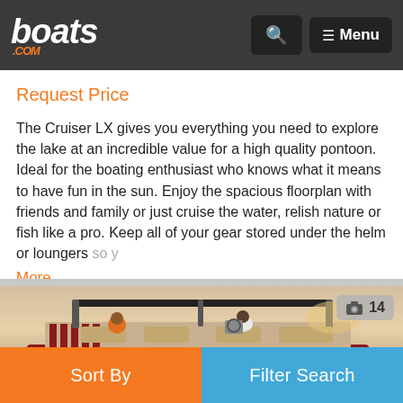boats.com — Navigation bar with search and menu buttons
Request Price
The Cruiser LX gives you everything you need to explore the lake at an incredible value for a high quality pontoon. Ideal for the boating enthusiast who knows what it means to have fun in the sun. Enjoy the spacious floorplan with friends and family or just cruise the water, relish nature or fish like a pro. Keep all of your gear stored under the helm or loungers so y
More…
[Figure (photo): Pontoon boat on water at sunset with two people seated, viewed from behind. Photo counter badge showing 14 photos.]
Sort By | Filter Search